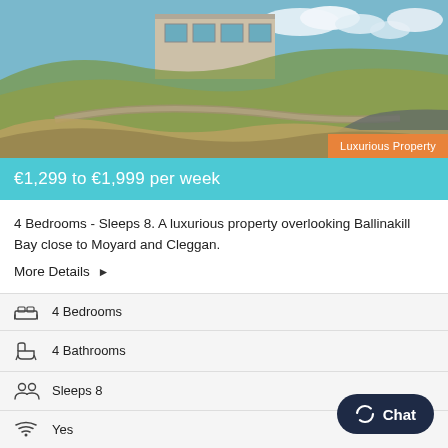[Figure (photo): Exterior photo of a modern house overlooking Ballinakill Bay, with a stone wall and driveway in the foreground, green hillside grasses, and blue sky with clouds in the background. An orange badge reads 'Luxurious Property' in the lower right corner of the photo.]
€1,299 to €1,999 per week
4 Bedrooms - Sleeps 8. A luxurious property overlooking Ballinakill Bay close to Moyard and Cleggan.
More Details ▶
4 Bedrooms
4 Bathrooms
Sleeps 8
Yes